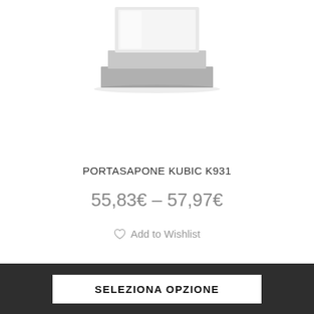[Figure (photo): Partial bottom view of a chrome/silver soap dispenser or holder product (Portasapone Kubic K931) on white background]
PORTASAPONE KUBIC K931
55,83€ – 57,97€
Add to Wishlist
SELEZIONA OPZIONE